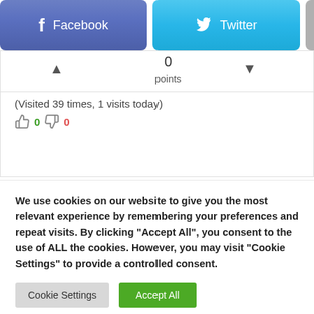[Figure (infographic): Social sharing buttons: Facebook (blue-purple), Twitter (blue), and a grey plus button]
0 points
(Visited 39 times, 1 visits today)
👍 0  👎 0
We use cookies on our website to give you the most relevant experience by remembering your preferences and repeat visits. By clicking "Accept All", you consent to the use of ALL the cookies. However, you may visit "Cookie Settings" to provide a controlled consent.
Cookie Settings   Accept All